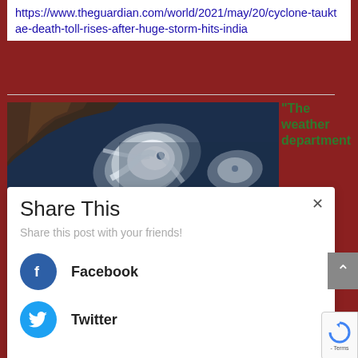https://www.theguardian.com/world/2021/may/20/cyclone-tauktae-death-toll-rises-after-huge-storm-hits-india
[Figure (photo): Satellite image of Cyclone Tauktae swirling over the Indian Ocean near the Indian subcontinent, showing distinctive spiral cloud formation]
“The weather department
Share This
Share this post with your friends!
Facebook
Twitter